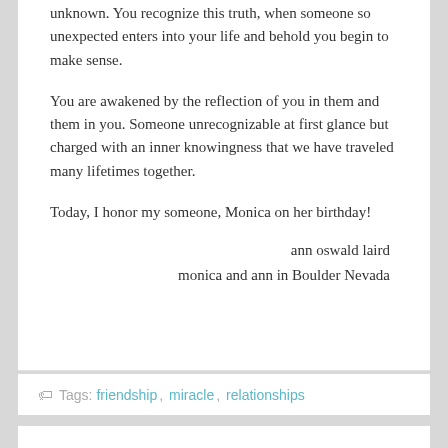unknown. You recognize this truth, when someone so unexpected enters into your life and behold you begin to make sense.
You are awakened by the reflection of you in them and them in you. Someone unrecognizable at first glance but charged with an inner knowingness that we have traveled many lifetimes together.
Today, I honor my someone, Monica on her birthday!
ann oswald laird
monica and ann in Boulder Nevada
Tags: friendship, miracle, relationships